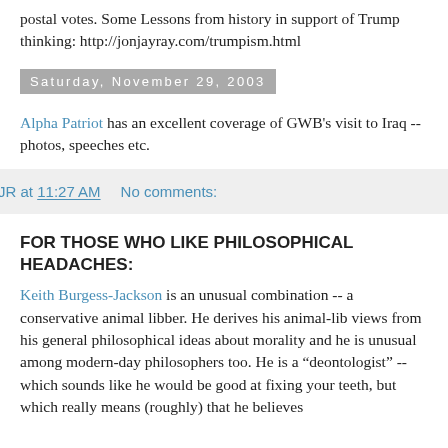postal votes. Some Lessons from history in support of Trump thinking: http://jonjayray.com/trumpism.html
Saturday, November 29, 2003
Alpha Patriot has an excellent coverage of GWB's visit to Iraq -- photos, speeches etc.
JR at 11:27 AM    No comments:
FOR THOSE WHO LIKE PHILOSOPHICAL HEADACHES:
Keith Burgess-Jackson is an unusual combination -- a conservative animal libber. He derives his animal-lib views from his general philosophical ideas about morality and he is unusual among modern-day philosophers too. He is a “deontologist” -- which sounds like he would be good at fixing your teeth, but which really means (roughly) that he believes